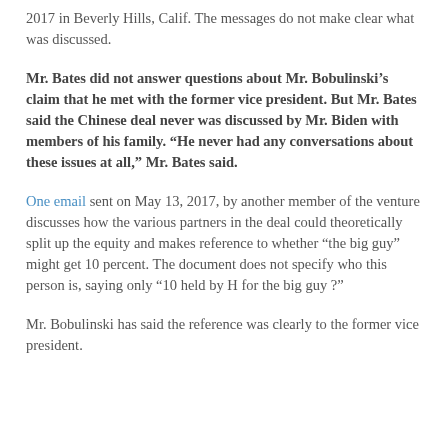2017 in Beverly Hills, Calif. The messages do not make clear what was discussed.
Mr. Bates did not answer questions about Mr. Bobulinski’s claim that he met with the former vice president. But Mr. Bates said the Chinese deal never was discussed by Mr. Biden with members of his family. “He never had any conversations about these issues at all,” Mr. Bates said.
One email sent on May 13, 2017, by another member of the venture discusses how the various partners in the deal could theoretically split up the equity and makes reference to whether “the big guy” might get 10 percent. The document does not specify who this person is, saying only “10 held by H for the big guy ?”
Mr. Bobulinski has said the reference was clearly to the former vice president.